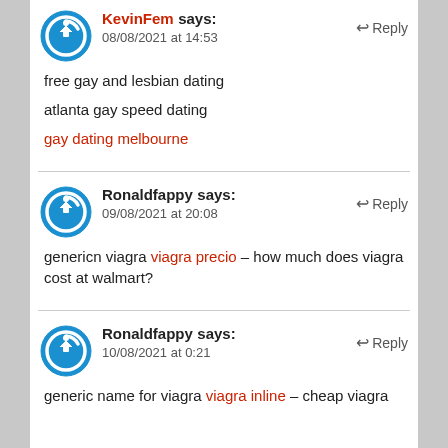KevinFem says: 08/08/2021 at 14:53 — Reply
free gay and lesbian dating
atlanta gay speed dating
gay dating melbourne
Ronaldfappy says: 09/08/2021 at 20:08 — Reply
genericn viagra viagra precio – how much does viagra cost at walmart?
Ronaldfappy says: 10/08/2021 at 0:21 — Reply
generic name for viagra viagra inline – cheap viagra